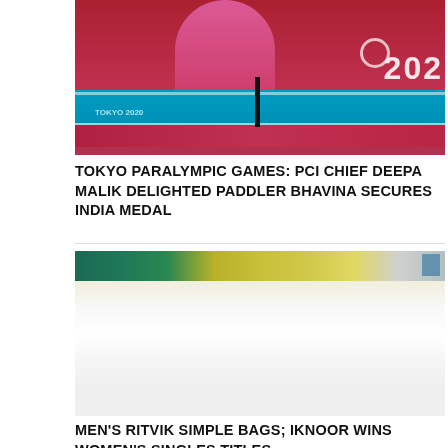[Figure (photo): Tokyo 2020 Paralympic Games table tennis match photo showing a player in pink/red uniform at a blue table tennis table with 'TOKYO 2020' text visible on red background]
TOKYO PARALYMPIC GAMES: PCI CHIEF DEEPA MALIK DELIGHTED PADDLER BHAVINA SECURES INDIA MEDAL
[Figure (photo): Sports photo showing a tennis or badminton court with green and gold/yellow tones, partially cropped]
MEN'S RITVIK SIMPLE BAGS; IKNOOR WINS WOMEN'S SINGLES TITLES